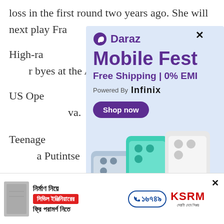loss in the first round two years ago. She will next play Fra...
High-ra... ever go into sec... r byes at the A...
US Ope... ed second a... va.
Teenage... e a winning... a Putintse...
[Figure (infographic): Daraz Mobile Fest advertisement overlay with logo, 'Mobile Fest' headline, 'Free Shipping | 0% EMI', 'Powered By Infinix', 'Shop now' button, and three Infinix mobile phones displayed.]
[Figure (infographic): Bottom banner advertisement in Bengali: 'নির্মাণ নিয়ে' with civil engineering consultation text, phone number 16749, and KSRM logo. Close button on right.]